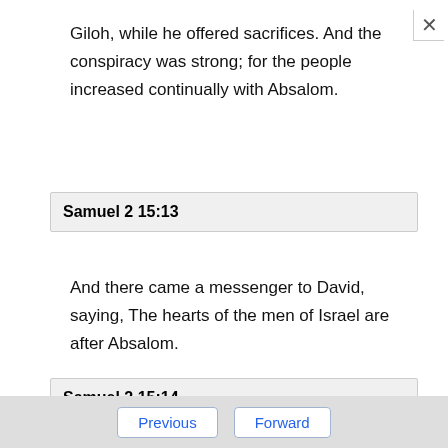Giloh, while he offered sacrifices. And the conspiracy was strong; for the people increased continually with Absalom.
Samuel 2 15:13
And there came a messenger to David, saying, The hearts of the men of Israel are after Absalom.
Samuel 2 15:14
And David said unto all his servants that [were]
Previous  Forward